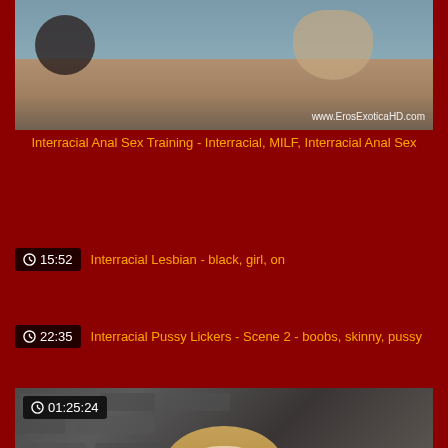[Figure (screenshot): Video thumbnail showing two figures in water, with watermark www.ErosExoticaHD.com]
Interracial Anal Sex Training - Interracial, MILF, Interracial Anal Sex
15:52 Interracial Lesbian - black, girl, on
22:35 Interracial Pussy Lickers - Scene 2 - boobs, skinny, pussy
[Figure (screenshot): Video thumbnail showing a woman with curly hair in front of a stone wall, with time badge 01:25:24]